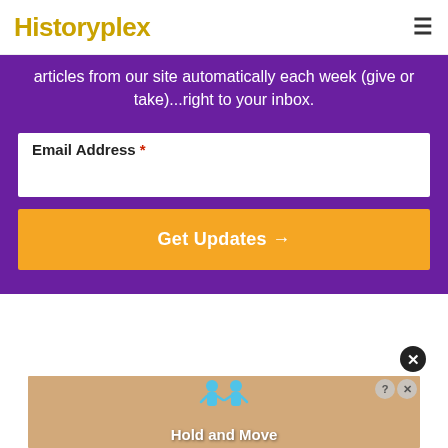Historyplex
articles from our site automatically each week (give or take)...right to your inbox.
Email Address *
Get Updates →
[Figure (screenshot): Advertisement showing cartoon figures and text 'Hold and Move']